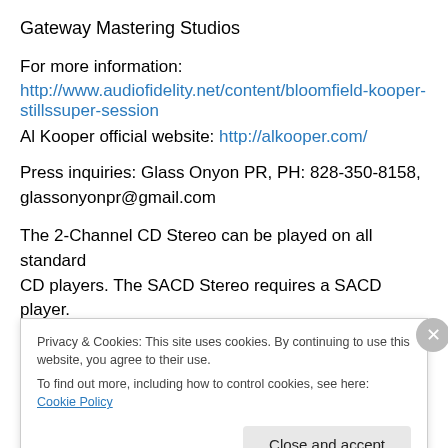Gateway Mastering Studios
For more information:
http://www.audiofidelity.net/content/bloomfield-kooper-stillssuper-session
Al Kooper official website: http://alkooper.com/
Press inquiries: Glass Onyon PR, PH: 828-350-8158, glassonyonpr@gmail.com
The 2-Channel CD Stereo can be played on all standard CD players. The SACD Stereo requires a SACD player.
Privacy & Cookies: This site uses cookies. By continuing to use this website, you agree to their use. To find out more, including how to control cookies, see here: Cookie Policy
Close and accept